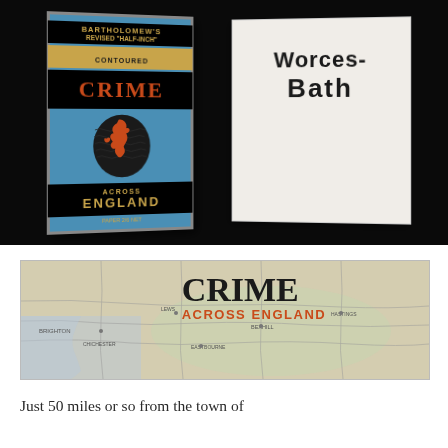[Figure (photo): Photograph of a vintage Bartholomew's Revised Half-Inch Contoured map cover titled 'Crime Across England' in blue with orange text and a silhouette of Britain, alongside an open book showing 'Worcester Bath' on the page, all against a black background.]
[Figure (photo): Banner image showing a vintage map of England with 'CRIME ACROSS ENGLAND' text overlay, CRIME in bold black and ACROSS ENGLAND in red.]
Just 50 miles or so from the town of